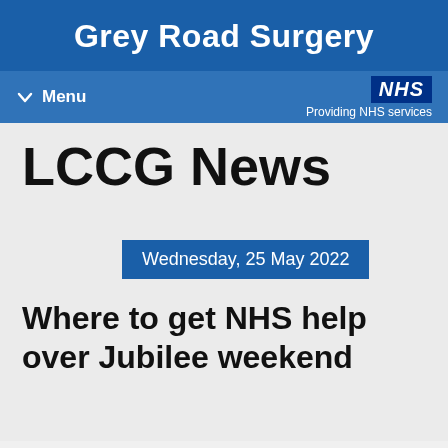Grey Road Surgery
Menu  NHS Providing NHS services
LCCG News
Wednesday, 25 May 2022
Where to get NHS help over Jubilee weekend